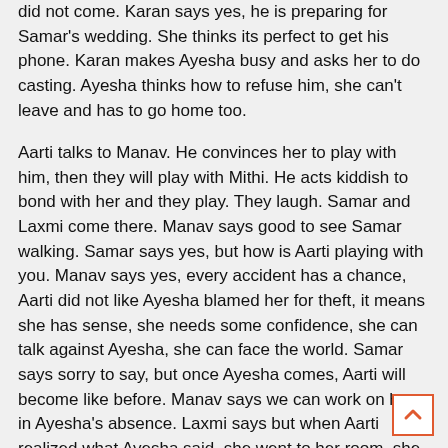did not come. Karan says yes, he is preparing for Samar's wedding. She thinks its perfect to get his phone. Karan makes Ayesha busy and asks her to do casting. Ayesha thinks how to refuse him, she can't leave and has to go home too.
Aarti talks to Manav. He convinces her to play with him, then they will play with Mithi. He acts kiddish to bond with her and they play. They laugh. Samar and Laxmi come there. Manav says good to see Samar walking. Samar says yes, but how is Aarti playing with you. Manav says yes, every accident has a chance, Aarti did not like Ayesha blamed her for theft, it means she has sense, she needs some confidence, she can talk against Ayesha, she can face the world. Samar says sorry to say, but once Ayesha comes, Aarti will become like before. Manav says we can work on her in Ayesha's absence. Laxmi says but when Aarti realized what Ayesha said, she went to her room, she will change when she follows her heart. Samar says you are making a wrong try.
Manav holds Aarti's hand and takes her outside in the lawn. San